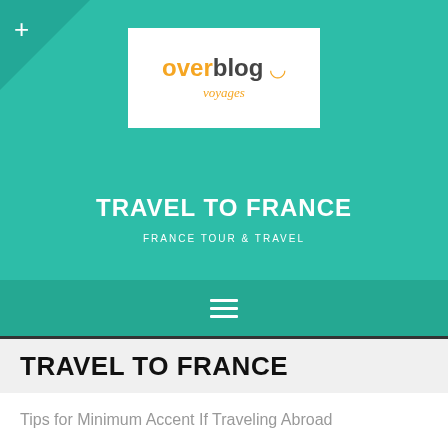[Figure (logo): Overblog Voyages logo - white rectangle with orange 'over', dark grey 'blog', orange spiral symbol, and orange italic 'voyages' text below]
TRAVEL TO FRANCE
FRANCE TOUR & TRAVEL
TRAVEL TO FRANCE
Tips for Minimum Accent If Traveling Abroad
It affairs that you adore the trip. The biking admonition in this commodity should